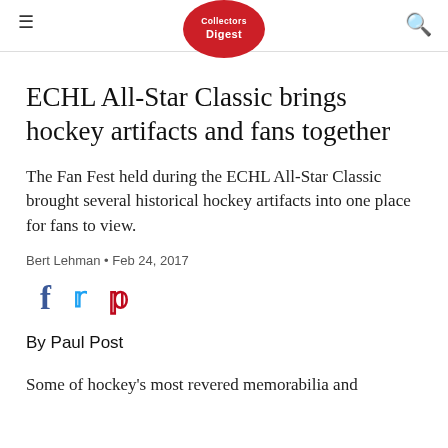Collectors Digest
ECHL All-Star Classic brings hockey artifacts and fans together
The Fan Fest held during the ECHL All-Star Classic brought several historical hockey artifacts into one place for fans to view.
Bert Lehman • Feb 24, 2017
[Figure (other): Social media share icons: Facebook (f), Twitter (bird), Pinterest (p)]
By Paul Post
Some of hockey's most revered memorabilia and